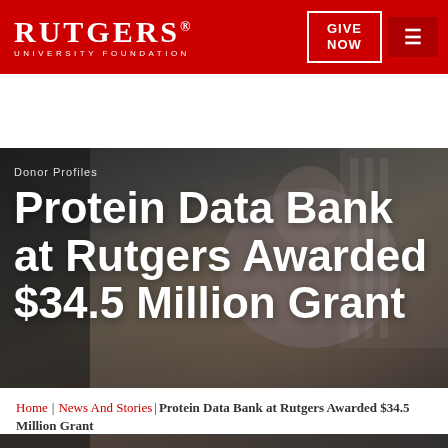RUTGERS. UNIVERSITY FOUNDATION | GIVE NOW | ≡
[Figure (photo): Background photo of a man in a lavender shirt holding a marker, speaking in a laboratory or research setting, with another person partially visible on the left.]
Donor Profiles
Protein Data Bank at Rutgers Awarded $34.5 Million Grant
Home | News And Stories | Protein Data Bank at Rutgers Awarded $34.5 Million Grant